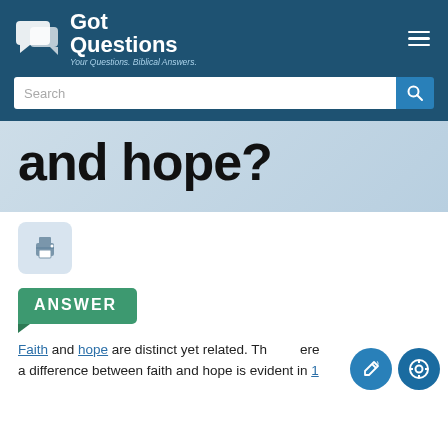[Figure (logo): GotQuestions logo with speech bubble icon, white text 'Got Questions' and tagline 'Your Questions. Biblical Answers.' on dark blue header with search bar]
and hope?
[Figure (screenshot): Print button icon (printer) in a light blue rounded square]
ANSWER
Faith and hope are distinct yet related. There is a difference between faith and hope is evident in 1